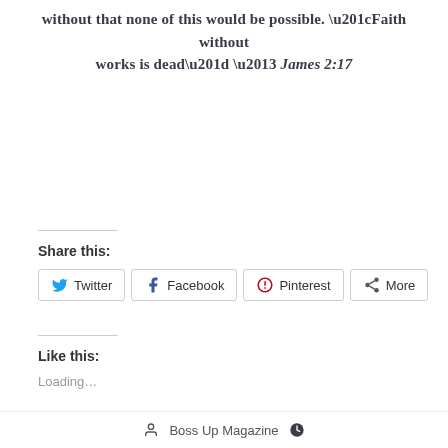without that none of this would be possible. “Faith without works is dead” – James 2:17
Share this:
Twitter  Facebook  Pinterest  More
Like this:
Loading…
Boss Up Magazine